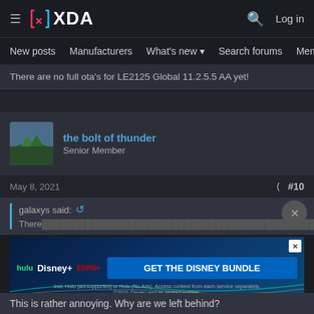XDA — New posts | Manufacturers | What's new | Search forums | Members | Log in
There are no full otas for LE2125 Global 11.2.5.5 AA yet!
the bolt of thunder — Senior Member
May 8, 2021   #10
galaxys said:
There are no full otas for LE2125 Global 11.2.5.5 AA yet!
[Figure (screenshot): Disney Bundle advertisement banner showing Hulu, Disney+, ESPN+ logos and GET THE DISNEY BUNDLE call-to-action]
This is rather annoying. Why are we left behind?